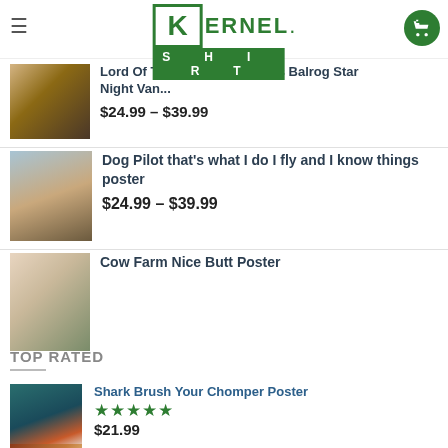Kernel Shirt — Navigation header with logo and cart
Lord Of The Rings Gandalf Vs Balrog Star Night Van...
$24.99 – $39.99
Dog Pilot that's what I do I fly and I know things poster
$24.99 – $39.99
Cow Farm Nice Butt Poster
TOP RATED
Shark Brush Your Chomper Poster
★★★★★
$21.99
Next product listing (partial)